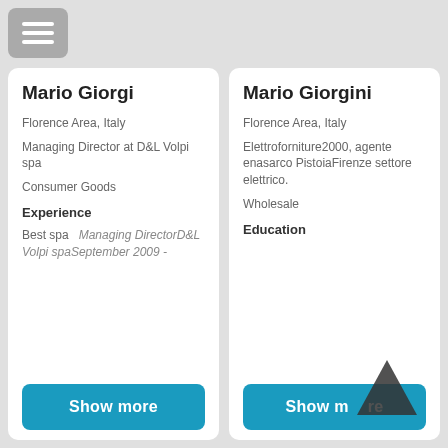[Figure (other): Hamburger menu icon button (three white horizontal lines on grey rounded rectangle background)]
Mario Giorgi
Florence Area, Italy
Managing Director at D&L Volpi spa
Consumer Goods
Experience
Best spa   Managing DirectorD&L Volpi spaSeptember 2009 -
[Figure (other): Show more button (teal/blue rounded rectangle with white bold text)]
Mario Giorgini
Florence Area, Italy
Elettroforniture2000, agente enasarco PistoiaFirenze settore elettrico.
Wholesale
Education
[Figure (other): Show more button (teal/blue rounded rectangle with white bold text) partially obscured by a dark upward chevron/arrow overlay]